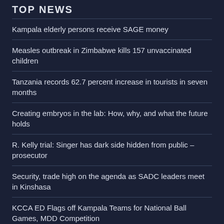TOP NEWS
Kampala elderly persons receive SAGE money
Measles outbreak in Zimbabwe kills 157 unvaccinated children
Tanzania records 62.7 percent increase in tourists in seven months
Creating embryos in the lab: How, why, and what the future holds
R. Kelly trial: Singer has dark side hidden from public – prosecutor
Security, trade high on the agenda as SADC leaders meet in Kinshasa
KCCA ED Flags off Kampala Teams for National Ball Games, MDD Competition